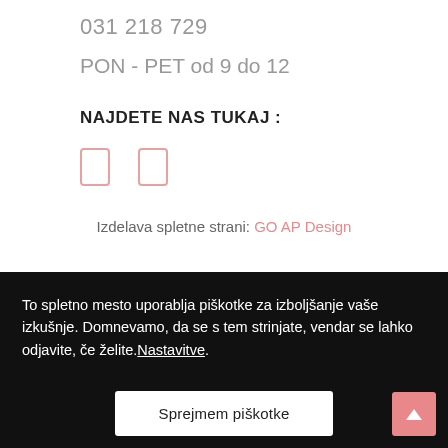031 218 729
PON - PET od 9 do 12
NAJDETE NAS TUKAJ :
[Figure (illustration): Two social media icon placeholders (outlined rectangles in pink/salmon color)]
Izdelava spletne strani: GO AP Design
To spletno mesto uporablja piškotke za izboljšanje vaše izkušnje. Domnevamo, da se s tem strinjate, vendar se lahko odjavite, če želite.Nastavitve.
Sprejmem piškotke